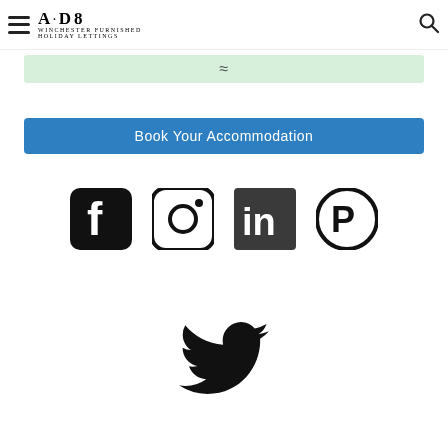A·D8 Winchester Furnished Holiday Lettings
[Figure (screenshot): Green banner/bar with tilde icon]
[Figure (screenshot): Blue 'Book Your Accommodation' button]
[Figure (infographic): Social media icons: Facebook, Instagram, LinkedIn, Pinterest, Twitter]